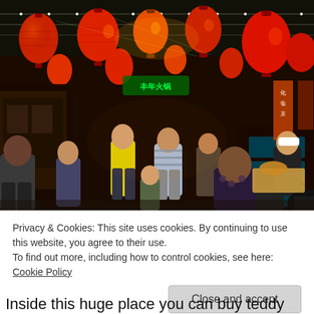[Figure (photo): A busy night market street in China decorated with rows of glowing red and orange paper lanterns hanging overhead. Crowds of people browse stalls and shops on both sides of the walkway. Signs in Chinese characters are lit up on storefronts.]
Privacy & Cookies: This site uses cookies. By continuing to use this website, you agree to their use.
To find out more, including how to control cookies, see here: Cookie Policy
Close and accept
Inside this huge place you can buy teddy bears, toy mobile